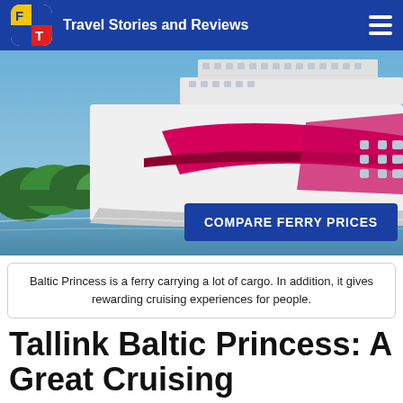Travel Stories and Reviews
[Figure (photo): Large cruise ferry named 'Baltic Princess' with white hull and pink/magenta decorative graphics, sailing near a tree-covered shoreline. A blue 'COMPARE FERRY PRICES' button overlaid at bottom right.]
Baltic Princess is a ferry carrying a lot of cargo. In addition, it gives rewarding cruising experiences for people.
Tallink Baltic Princess: A Great Cruising